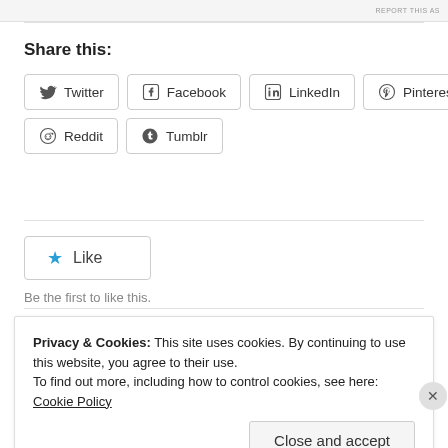REPORT THIS AS
Share this:
Twitter
Facebook
LinkedIn
Pinterest
Reddit
Tumblr
Like
Be the first to like this.
Privacy & Cookies: This site uses cookies. By continuing to use this website, you agree to their use. To find out more, including how to control cookies, see here: Cookie Policy
Close and accept